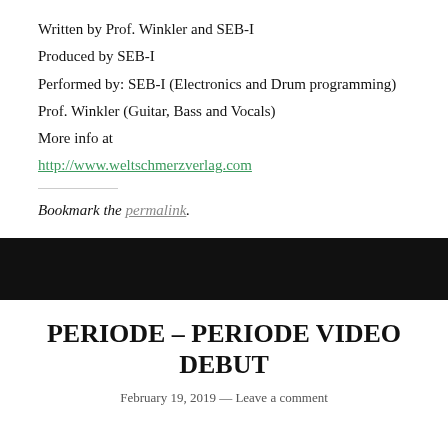Written by Prof. Winkler and SEB-I
Produced by SEB-I
Performed by: SEB-I (Electronics and Drum programming)
Prof. Winkler (Guitar, Bass and Vocals)
More info at
http://www.weltschmerzverlag.com
Bookmark the permalink.
[Figure (other): Black decorative bar separating content sections]
PERIODE – PERIODE VIDEO DEBUT
February 19, 2019 — Leave a comment